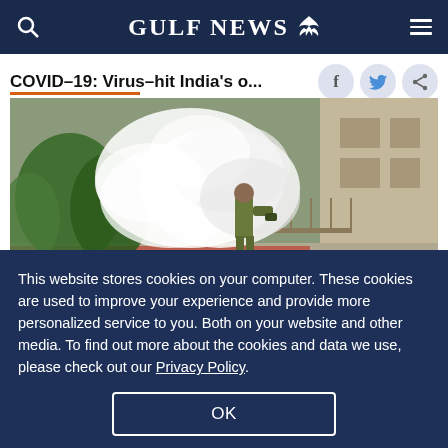GULF NEWS
COVID-19: Virus-hit India's o...
[Figure (photo): A civic authority worker in uniform carries a fumigation machine, releasing a large cloud of white smoke/fog outside a building. Green vegetation visible on the left, building structure on the right.]
A months-long lockdown to prevent the epidemic from spreading left Mumbai with an acute shortage of sanitation workers. | A civic authority worker fumigates ...
This website stores cookies on your computer. These cookies are used to improve your experience and provide more personalized service to you. Both on your website and other media. To find out more about the cookies and data we use, please check out our Privacy Policy.